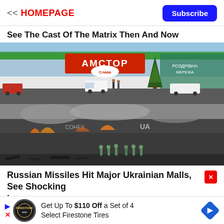<< HOMEPAGE | Subscribe
See The Cast Of The Matrix Then And Now
[Figure (photo): Top photo: AMCTOP (Amstar) shopping mall exterior with Christmas tree, cars parked in front, clear day. Bottom photo: Same or similar Ukrainian mall building on fire with smoke and firefighters in foreground.]
Russian Missiles Hit Major Ukrainian Malls, See Shocking Images
Get Up To $110 Off a Set of 4 Select Firestone Tires